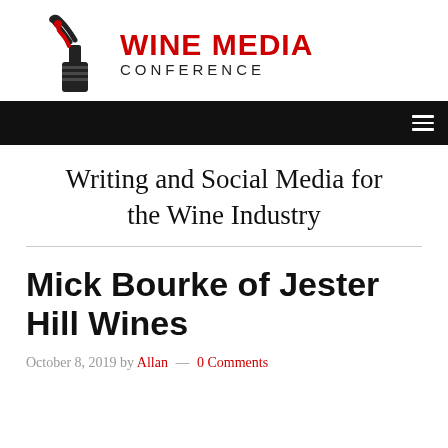WINE MEDIA CONFERENCE
Writing and Social Media for the Wine Industry
Mick Bourke of Jester Hill Wines
October 8, 2019 by Allan — 0 Comments